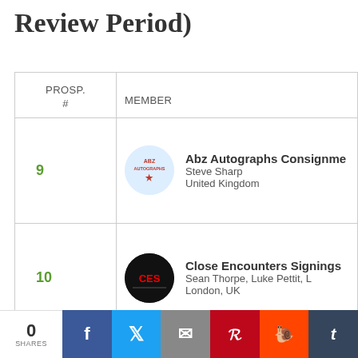Review Period)
| PROSP. # | MEMBER |
| --- | --- |
| 9 | Abz Autographs Consignment
Steve Sharp
United Kingdom |
| 10 | Close Encounters Signings
Sean Thorpe, Luke Pettit, ...
London, UK |
|  | Highland Hobbies... |
0 SHARES | Facebook | Twitter | Email | Pinterest | Reddit | Tumblr